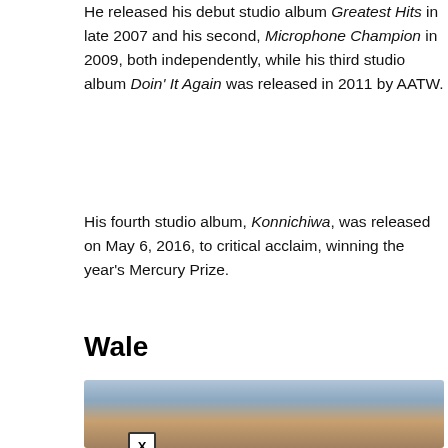He released his debut studio album Greatest Hits in late 2007 and his second, Microphone Champion in 2009, both independently, while his third studio album Doin' It Again was released in 2011 by AATW.
His fourth studio album, Konnichiwa, was released on May 6, 2016, to critical acclaim, winning the year's Mercury Prize.
Wale
[Figure (photo): A photo showing an interior/exterior scene with a close-up button, and an advertisement overlay showing a store logo with 'cm', checkmarks for In-store shopping, Curbside pickup, Delivery, and a blue diamond arrow icon.]